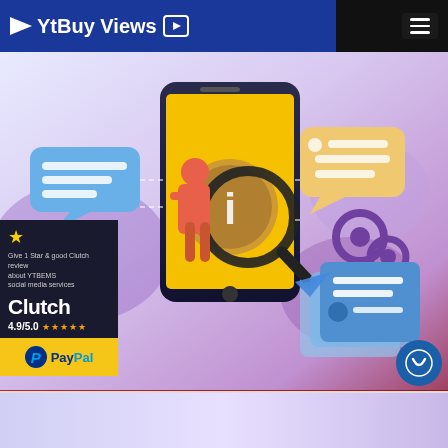YtBuy Views
[Figure (illustration): Hero illustration showing a person with magnifying glass examining a large smartphone with an info icon, surrounded by speech bubbles, gear icons, and document cards on a purple/blue gradient background. Clutch badge showing 4.9/5.0 rating and PayPal payment badge in bottom left. Chat button bottom right.]
Give 1 Star & good Clutch review about YTBEMS social media services
Clutch 4.9/5.0 ★★★★★